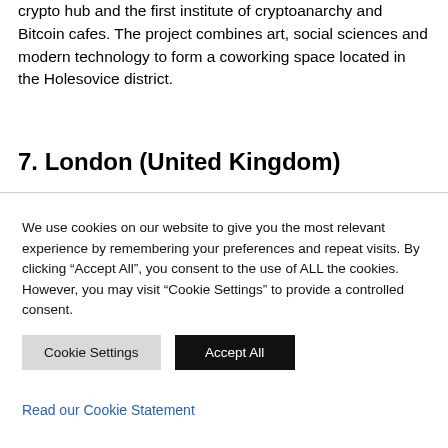crypto hub and the first institute of cryptoanarchy and Bitcoin cafes. The project combines art, social sciences and modern technology to form a coworking space located in the Holesovice district.
7. London (United Kingdom)
We use cookies on our website to give you the most relevant experience by remembering your preferences and repeat visits. By clicking “Accept All”, you consent to the use of ALL the cookies. However, you may visit "Cookie Settings" to provide a controlled consent.
Cookie Settings | Accept All
Read our Cookie Statement